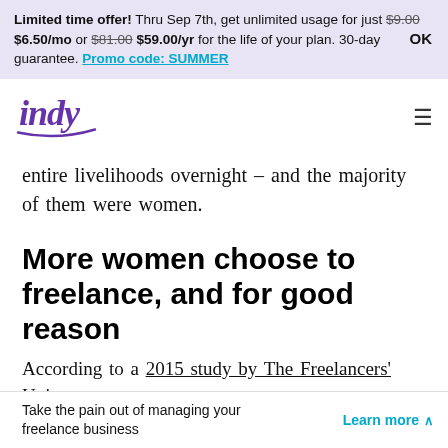Limited time offer! Thru Sep 7th, get unlimited usage for just $9.00 $6.50/mo or $81.00 $59.00/yr for the life of your plan. 30-day guarantee. Promo code: SUMMER   OK
[Figure (logo): Indy logo in purple cursive script]
entire livelihoods overnight – and the majority of them were women.
More women choose to freelance, and for good reason
According to a 2015 study by The Freelancers' Union,
Take the pain out of managing your freelance business   Learn more ∧